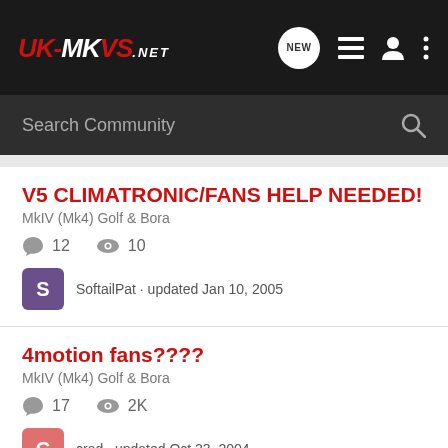UK-MKVS.NET
Search Community
V5 CLIMATRONIC/FANS HELP NEEDED!
MkIV (Mk4) Golf & Bora
12 replies · 10 views
SoftailPat · updated Jan 10, 2005
4motion fans????
MkIV (Mk4) Golf & Bora
17 replies · 2K views
crad · updated Oct 23, 2004